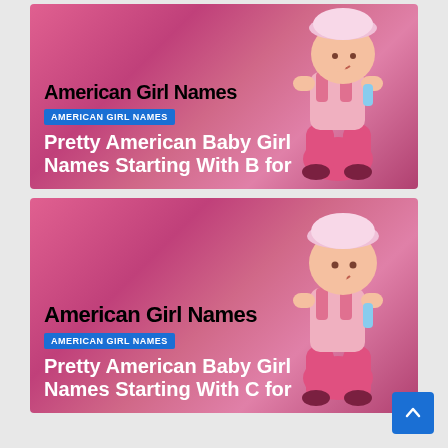[Figure (photo): Card with pink background showing a baby girl in pink outfit with hat, with overlay text. Category tag: AMERICAN GIRL NAMES. Title: Pretty American Baby Girl Names Starting With B for]
[Figure (photo): Card with pink background showing a baby girl in pink outfit with hat, with overlay text. Category tag: AMERICAN GIRL NAMES. Title: Pretty American Baby Girl Names Starting With C for]